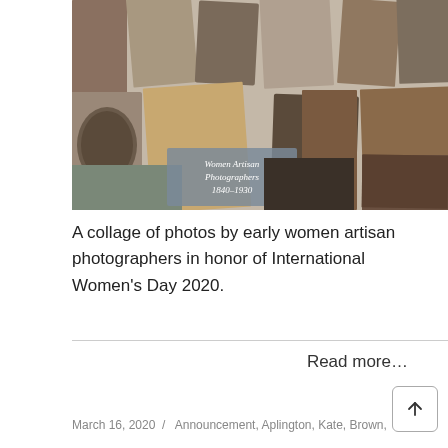[Figure (photo): A collage of vintage black-and-white and sepia photographs of women and children by early women artisan photographers, with a semi-transparent text overlay reading 'Women Artisan Photographers 1840–1930']
A collage of photos by early women artisan photographers in honor of International Women's Day 2020.
Read more...
March 16, 2020  /  Announcement, Aplington, Kate, Brown,